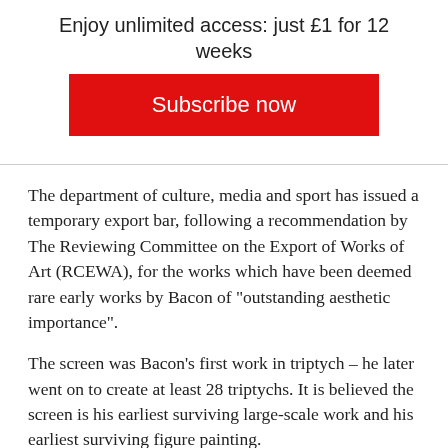Enjoy unlimited access: just £1 for 12 weeks
Subscribe now
The department of culture, media and sport has issued a temporary export bar, following a recommendation by The Reviewing Committee on the Export of Works of Art (RCEWA), for the works which have been deemed rare early works by Bacon of “outstanding aesthetic importance”.
The screen was Bacon’s first work in triptych – he later went on to create at least 28 triptychs. It is believed the screen is his earliest surviving large-scale work and his earliest surviving figure painting.
RCEWA member Richard Calvocoressi said: “Given how much of his work Bacon destroyed, it is crucial that we try to retain these rare early examples in this